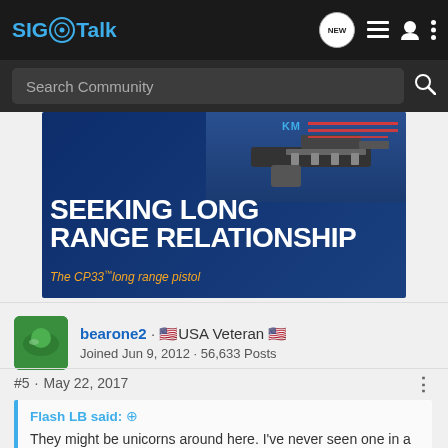SIG Talk
[Figure (screenshot): SIGTalk forum navigation header with logo, NEW button, list icon, user icon, and menu dots]
[Figure (screenshot): Search Community search bar with magnifying glass icon]
[Figure (photo): Advertisement banner for Kel-Tec CP33 long range pistol. Text reads: SEEKING LONG RANGE RELATIONSHIP. The CP33 long range pistol.]
bearone2 · USA Veteran 🇺🇸
Joined Jun 9, 2012 · 56,633 Posts
#5 · May 22, 2017
Flash LB said: ↑
They might be unicorns around here. I've never seen one in a gun store.